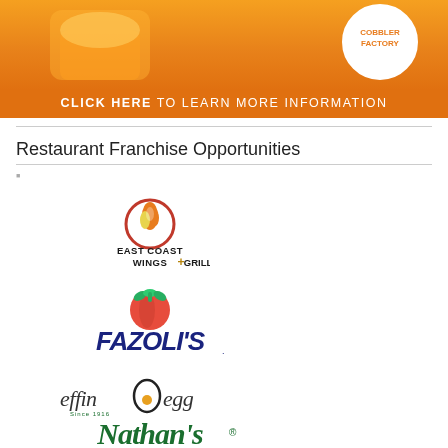[Figure (illustration): Orange advertisement banner for Cobbler Factory with 'CLICK HERE TO LEARN MORE INFORMATION' text at bottom]
Restaurant Franchise Opportunities
[Figure (logo): East Coast Wings + Grill logo with flame icon]
[Figure (logo): Fazoli's logo with tomato graphic]
[Figure (logo): effin egg logo]
[Figure (logo): Nathan's Since 1916 logo in green script]